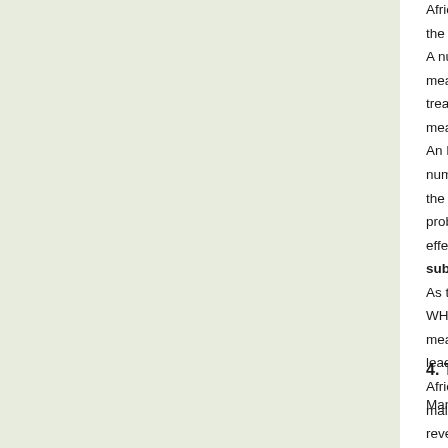Africa, in 1998 the United Nations, in partnership with the initiative "Roll Back Malaria", and specifically the 200... A number of medical organizations and NGOs joined the measures such as free treatment, expanding use of free treat simple cases of malaria in home based care centre measures save many lives in poor developing countries. An MSF study has shown that making tests and treatments number of people who seek treatment. After free tests ar the number of malaria patients increased in one year fro problems as the existing clinics and medical staff could n effect of free malaria medication is that patients do ne substandard malarial medications, thus reducing the As the vast majority of drugs and other products used to WHO proposed dropping all taxes and tariffs on medicin means to lowering the cost of treatment and life-saving p leaders 10 years ago to do so, only six countries - Guine Africa and Papua New Guinea in Asia - have completely malaria. This is despite the fact that taxes and tariffs on a revenues and these gains are often offset by health cost illnesses. Taxes and tariffs raise the price thus preventing To reach the MDGs on malaria mortality and bring about international level are needed. Political support at countr international level are two essential requirements. Only t international partners will the MDGs be reached by 2015
4. Towards free malaria treatment
Many governments in Africa have prioritized malaria and